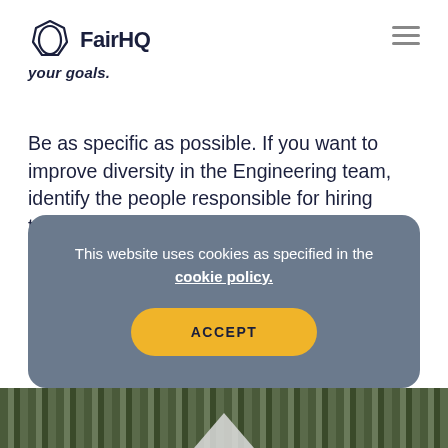[Figure (logo): FairHQ logo with hexagon icon and text 'FairHQ' in bold dark navy, with italic tagline 'your goals.' below]
Be as specific as possible. If you want to improve diversity in the Engineering team, identify the people responsible for hiring technical employees. Come up with a list of the recruiters, heads, and talent managers who need to be involved with your diversity goals.
This website uses cookies as specified in the cookie policy.
ACCEPT
[Figure (photo): Bottom image strip showing dark wooden planks texture with a white triangle shape emerging from the bottom center]